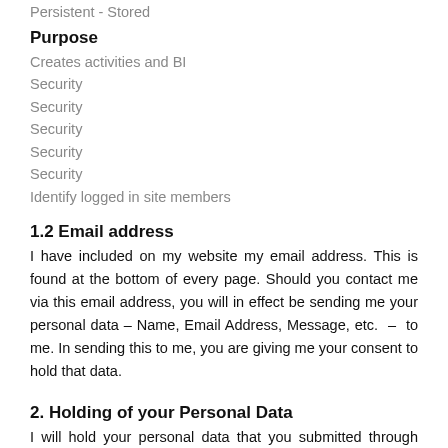Persistent - Stored
Purpose
Creates activities and BI
Security
Security
Security
Security
Security
Identify logged in site members
1.2 Email address
I have included on my website my email address. This is found at the bottom of every page. Should you contact me via this email address, you will in effect be sending me your personal data – Name, Email Address, Message, etc. – to me. In sending this to me, you are giving me your consent to hold that data.
2. Holding of your Personal Data
I will hold your personal data that you submitted through Email safe, secure and private at all times. I will not share that